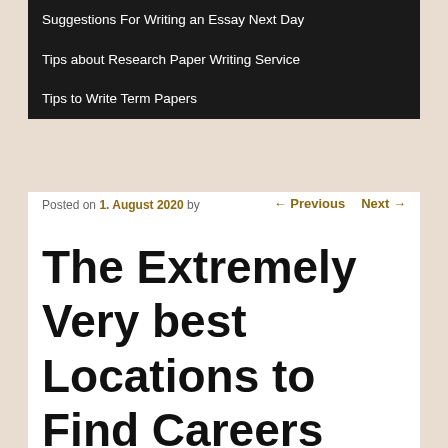Suggestions For Writing an Essay Next Day
Tips about Research Paper Writing Service
Tips to Write Term Papers
Posted on 1. August 2020 by
← Previous   Next →
The Extremely Very best Locations to Find Careers For Computer system Science Graduates